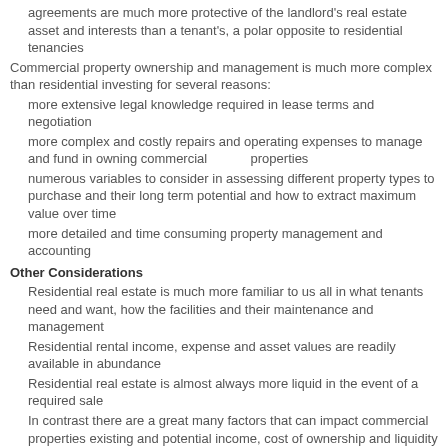agreements are much more protective of the landlord's real estate asset and interests than a tenant's, a polar opposite to residential tenancies
Commercial property ownership and management is much more complex than residential investing for several reasons:
more extensive legal knowledge required in lease terms and negotiation
more complex and costly repairs and operating expenses to manage and fund in owning commercial properties
numerous variables to consider in assessing different property types to purchase and their long term potential and how to extract maximum value over time
more detailed and time consuming property management and accounting
Other Considerations
Residential real estate is much more familiar to us all in what tenants need and want, how the facilities and their maintenance and management
Residential rental income, expense and asset values are readily available in abundance
Residential real estate is almost always more liquid in the event of a required sale
In contrast there are a great many factors that can impact commercial properties existing and potential income, cost of ownership and liquidity and a professional appraisal is almost always required to determine real value given the lack of public information
The wide range of commercial property segments and sub categories can be intimidating to a new commercial investor